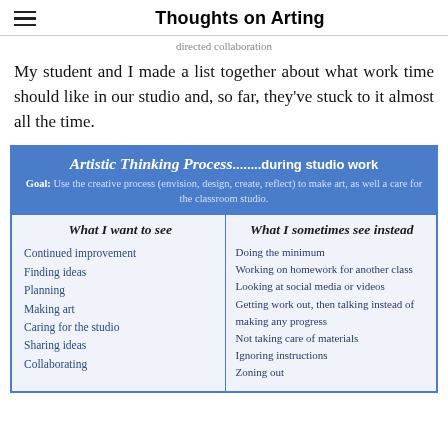Thoughts on Arting
directed collaboration
My student and I made a list together about what work time should like in our studio and, so far, they've stuck to it almost all the time.
| Artistic Thinking Process .......during studio work |  |
| --- | --- |
| What I want to see | What I sometimes see instead |
| Continued improvement | Doing the minimum |
| Finding ideas | Working on homework for another class |
| Planning | Looking at social media or videos |
| Making art | Getting work out, then talking instead of making any progress |
| Caring for the studio | Not taking care of materials |
| Sharing ideas | Ignoring instructions |
| Collaborating | Zoning out |